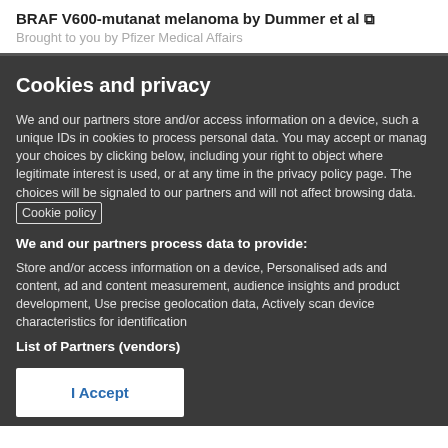BRAF V600-mutanat melanoma by Dummer et al
Brought to you by Pfizer Medical Affairs
Cookies and privacy
We and our partners store and/or access information on a device, such a unique IDs in cookies to process personal data. You may accept or manage your choices by clicking below, including your right to object where legitimate interest is used, or at any time in the privacy policy page. These choices will be signaled to our partners and will not affect browsing data. Cookie policy
We and our partners process data to provide:
Store and/or access information on a device, Personalised ads and content, ad and content measurement, audience insights and product development, Use precise geolocation data, Actively scan device characteristics for identification
List of Partners (vendors)
I Accept